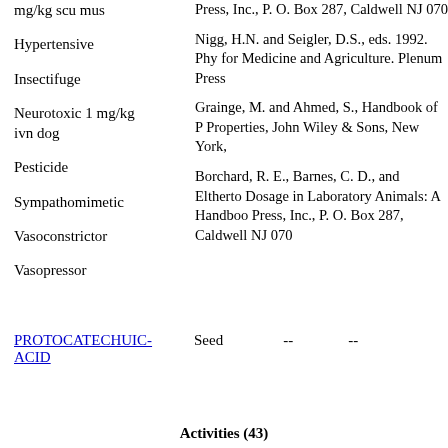mg/kg scu mus
Hypertensive
Insectifuge
Neurotoxic 1 mg/kg ivn dog
Pesticide
Sympathomimetic
Vasoconstrictor
Vasopressor
Press, Inc., P. O. Box 287, Caldwell NJ 070
Nigg, H.N. and Seigler, D.S., eds. 1992. Phy for Medicine and Agriculture. Plenum Press
Grainge, M. and Ahmed, S., Handbook of P Properties, John Wiley & Sons, New York,
Borchard, R. E., Barnes, C. D., and Eltherto Dosage in Laboratory Animals: A Handboo Press, Inc., P. O. Box 287, Caldwell NJ 070
PROTOCATECHUIC-ACID   Seed   --   --
Activities (43)